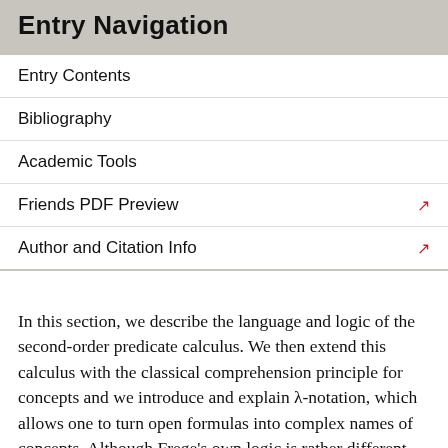Entry Navigation
Entry Contents
Bibliography
Academic Tools
Friends PDF Preview
Author and Citation Info
In this section, we describe the language and logic of the second-order predicate calculus. We then extend this calculus with the classical comprehension principle for concepts and we introduce and explain λ-notation, which allows one to turn open formulas into complex names of concepts. Although Frege's own logic is rather different from the modern second-order predicate calculus, the latter's comprehension principle for concepts and λ-notation provide us with a logically perspicuous way of representing Frege's Theorem. We shall sometimes